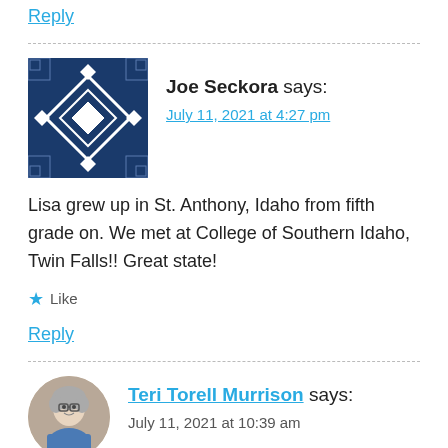Reply
Joe Seckora says:
July 11, 2021 at 4:27 pm
Lisa grew up in St. Anthony, Idaho from fifth grade on. We met at College of Southern Idaho, Twin Falls!! Great state!
★ Like
Reply
Teri Torell Murrison says:
July 11, 2021 at 10:39 am